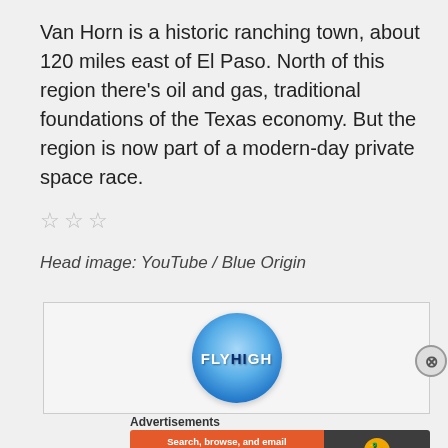Van Horn is a historic ranching town, about 120 miles east of El Paso. North of this region there's oil and gas, traditional foundations of the Texas economy. But the region is now part of a modern-day private space race.
[Figure (other): Three empty star rating icons (☆☆☆)]
Head image: YouTube / Blue Origin
[Figure (logo): FLYHIGH logo — circular blue sky background with white bold text reading FLYHIGH, the 'HI' portion in dark navy]
Advertisements
[Figure (screenshot): DuckDuckGo advertisement banner: orange section with text 'Search, browse, and email with more privacy. All in One Free App' and dark section with DuckDuckGo logo and name]